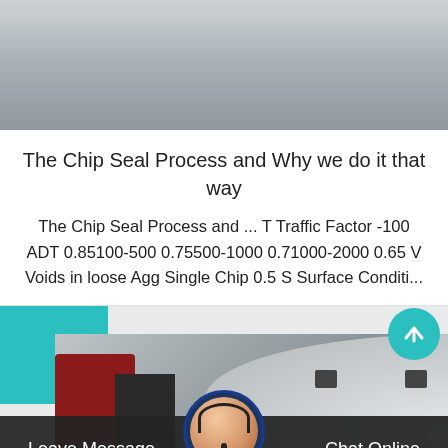[Figure (photo): Top portion of a road or pavement surface photo, grayish texture]
The Chip Seal Process and Why we do it that way
The Chip Seal Process and ... T Traffic Factor -100 ADT 0.85100-500 0.75500-1000 0.71000-2000 0.65 V Voids in loose Agg Single Chip 0.5 S Surface Conditi...
[Figure (photo): Industrial machinery photo showing large white cylindrical equipment (likely a crusher or mill) in a warehouse/factory setting, with red and blue machinery visible on the sides]
Leave Message
Chat Online